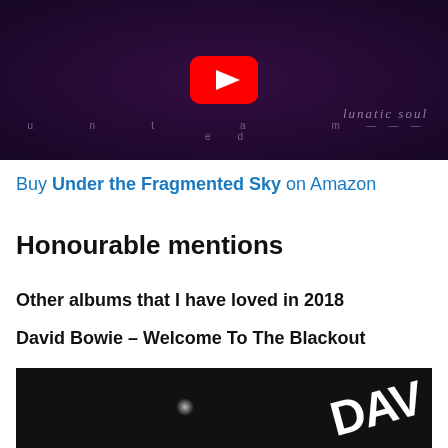[Figure (screenshot): YouTube video thumbnail for Lunatic Soul 'untamed' album, dark purple background with a face obscured by feathers, YouTube play button overlay, text 'lunatic soul' and 'u n t a m e d']
Buy Under the Fragmented Sky on Amazon
Honourable mentions
Other albums that I have loved in 2018
David Bowie – Welcome To The Blackout
[Figure (photo): Dark grainy photo showing partial white text 'DAV' on dark background, appears to be album artwork for David Bowie]